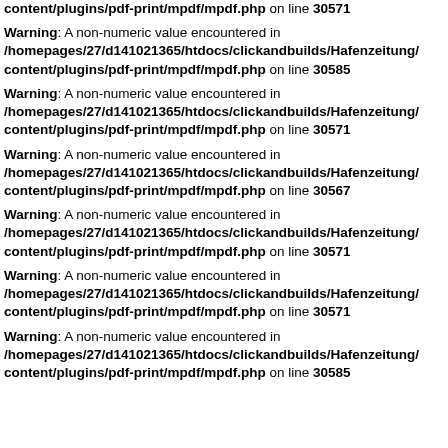/content/plugins/pdf-print/mpdf/mpdf.php on line 30571
Warning: A non-numeric value encountered in /homepages/27/d141021365/htdocs/clickandbuilds/Hafenzeitung/content/plugins/pdf-print/mpdf/mpdf.php on line 30585
Warning: A non-numeric value encountered in /homepages/27/d141021365/htdocs/clickandbuilds/Hafenzeitung/content/plugins/pdf-print/mpdf/mpdf.php on line 30571
Warning: A non-numeric value encountered in /homepages/27/d141021365/htdocs/clickandbuilds/Hafenzeitung/content/plugins/pdf-print/mpdf/mpdf.php on line 30567
Warning: A non-numeric value encountered in /homepages/27/d141021365/htdocs/clickandbuilds/Hafenzeitung/content/plugins/pdf-print/mpdf/mpdf.php on line 30571
Warning: A non-numeric value encountered in /homepages/27/d141021365/htdocs/clickandbuilds/Hafenzeitung/content/plugins/pdf-print/mpdf/mpdf.php on line 30571
Warning: A non-numeric value encountered in /homepages/27/d141021365/htdocs/clickandbuilds/Hafenzeitung/content/plugins/pdf-print/mpdf/mpdf.php on line 30585